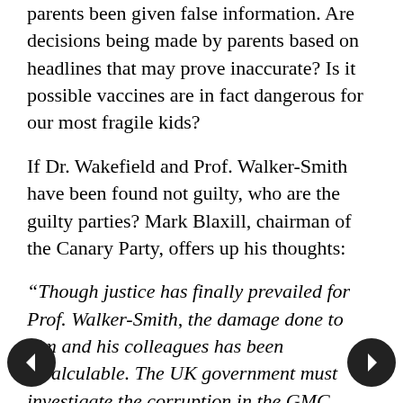parents been given false information. Are decisions being made by parents based on headlines that may prove inaccurate? Is it possible vaccines are in fact dangerous for our most fragile kids?
If Dr. Wakefield and Prof. Walker-Smith have been found not guilty, who are the guilty parties? Mark Blaxill, chairman of the Canary Party, offers up his thoughts:
“Though justice has finally prevailed for Prof. Walker-Smith, the damage done to him and his colleagues has been incalculable. The UK government must investigate the corruption in the GMC, which has severely damaged the reputations of good, honest doctors. Most of all, it’s outrageous that Dr. Andrew Wakefield has been vilified by government officials, vaccine